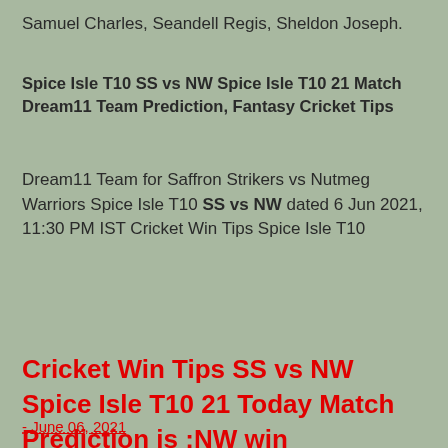Samuel Charles, Seandell Regis, Sheldon Joseph.
Spice Isle T10 SS vs NW Spice Isle T10 21 Match Dream11 Team Prediction, Fantasy Cricket Tips
Dream11 Team for Saffron Strikers vs Nutmeg Warriors Spice Isle T10 SS vs NW dated 6 Jun 2021, 11:30 PM IST Cricket Win Tips Spice Isle T10
Cricket Win Tips SS vs NW Spice Isle T10 21 Today Match Prediction is :NW win
- June 06, 2021